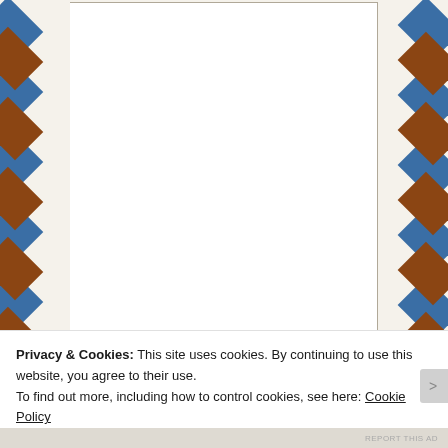[Figure (screenshot): Web form screenshot showing a large comment textarea, Name field with asterisk, Email field with asterisk, and a cookie consent banner overlay with 'Close and accept' button. Page has decorative airmail diagonal stripe borders in blue and brown/red on left and right sides.]
Name *
Email *
Privacy & Cookies: This site uses cookies. By continuing to use this website, you agree to their use.
To find out more, including how to control cookies, see here: Cookie Policy
Close and accept